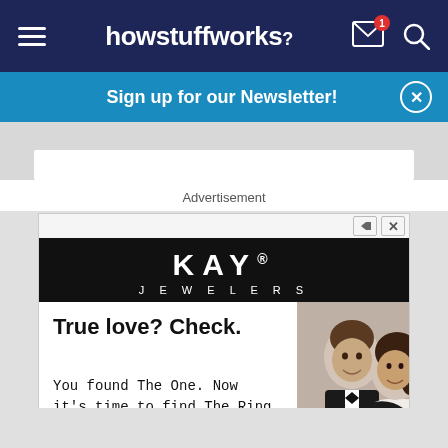howstuffworks
Sign up for our Newsletter!
[Figure (screenshot): Input bar area with gray marble background]
Advertisement
[Figure (photo): Kay Jewelers advertisement. Black header with KAY JEWELERS branding. Below left: 'True love? Check.' headline, 'You found The One. Now it's time to find The Ring.' body copy, and a dark CTA button. Right side shows a smiling couple in formal attire (man in tuxedo, woman in white dress).]